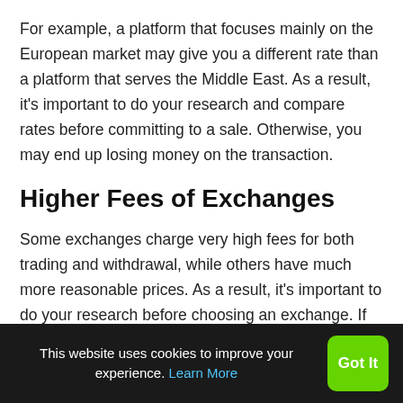For example, a platform that focuses mainly on the European market may give you a different rate than a platform that serves the Middle East. As a result, it's important to do your research and compare rates before committing to a sale. Otherwise, you may end up losing money on the transaction.
Higher Fees of Exchanges
Some exchanges charge very high fees for both trading and withdrawal, while others have much more reasonable prices. As a result, it's important to do your research before choosing an exchange. If you're not careful, you could end up paying a lot more than you need to.
This website uses cookies to improve your experience. Learn More  Got It